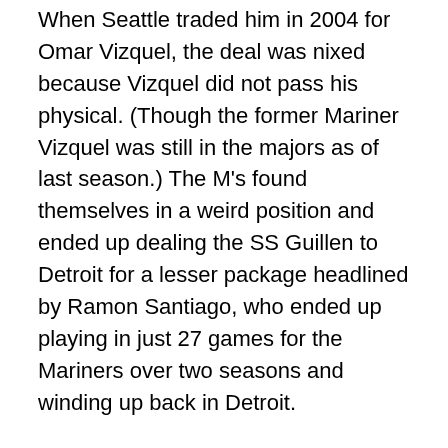When Seattle traded him in 2004 for Omar Vizquel, the deal was nixed because Vizquel did not pass his physical. (Though the former Mariner Vizquel was still in the majors as of last season.) The M's found themselves in a weird position and ended up dealing the SS Guillen to Detroit for a lesser package headlined by Ramon Santiago, who ended up playing in just 27 games for the Mariners over two seasons and winding up back in Detroit.
Guillen made three All-Star games over the next five seasons with the Tigers, living up to expectations unlike he ever had in Seattle. Still, he held no ill-will towards the organization and is now trying to make a comeback after playing in just 177 games from 2009-2011.
He told Gerod about this, about his tenure...